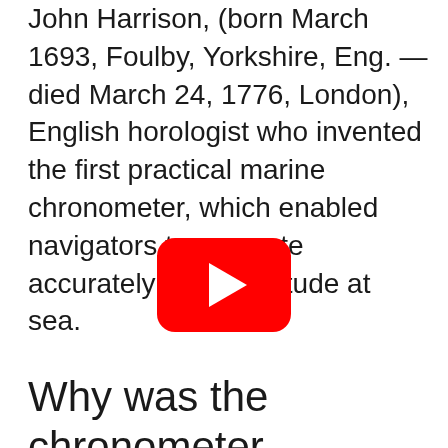John Harrison, (born March 1693, Foulby, Yorkshire, Eng. —died March 24, 1776, London), English horologist who invented the first practical marine chronometer, which enabled navigators to compute accurately their longitude at sea.
[Figure (other): YouTube play button icon — red rounded rectangle with white triangle play arrow]
Why was the chronometer made?